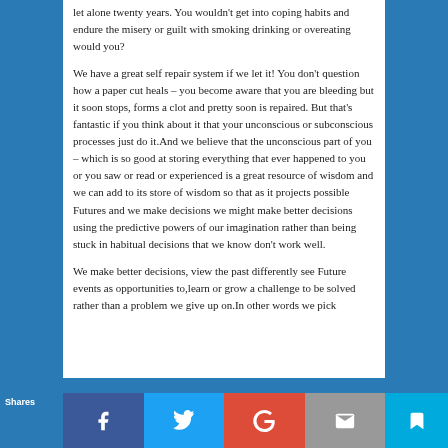let alone twenty years. You wouldn't get into coping habits and endure the misery or guilt with smoking drinking or overeating would you?
We have a great self repair system if we let it! You don't question how a paper cut heals – you become aware that you are bleeding but it soon stops, forms a clot and pretty soon is repaired. But that's fantastic if you think about it that your unconscious or subconscious processes just do it.And we believe that the unconscious part of you – which is so good at storing everything that ever happened to you or you saw or read or experienced is a great resource of wisdom and we can add to its store of wisdom so that as it projects possible Futures and we make decisions we might make better decisions using the predictive powers of our imagination rather than being stuck in habitual decisions that we know don't work well.
We make better decisions, view the past differently see Future events as opportunities to,learn or grow a challenge to be solved rather than a problem we give up on.In other words we pick
Shares